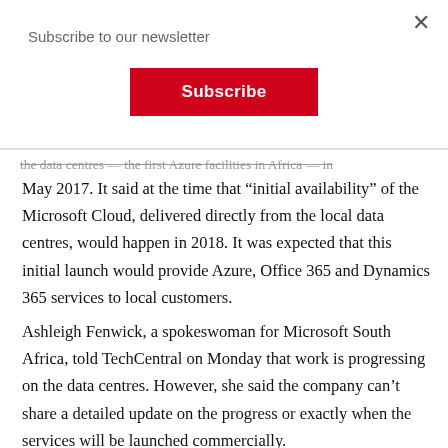Subscribe to our newsletter
[Figure (screenshot): Red Subscribe button]
the data centres — the first Azure facilities in Africa — in May 2017. It said at the time that “initial availability” of the Microsoft Cloud, delivered directly from the local data centres, would happen in 2018. It was expected that this initial launch would provide Azure, Office 365 and Dynamics 365 services to local customers.
Ashleigh Fenwick, a spokeswoman for Microsoft South Africa, told TechCentral on Monday that work is progressing on the data centres. However, she said the company can’t share a detailed update on the progress or exactly when the services will be launched commercially.